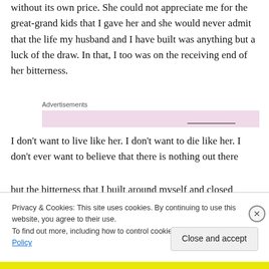without its own price. She could not appreciate me for the great-grand kids that I gave her and she would never admit that the life my husband and I have built was anything but a luck of the draw. In that, I too was on the receiving end of her bitterness.
Advertisements
I don't want to live like her. I don't want to die like her. I don't ever want to believe that there is nothing out there but the bitterness that I built around myself and closed...
Privacy & Cookies: This site uses cookies. By continuing to use this website, you agree to their use.
To find out more, including how to control cookies, see here: Cookie Policy
Close and accept